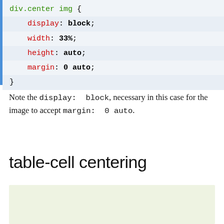[Figure (screenshot): Code block showing CSS snippet: div.center img { display: block; width: 33%; height: auto; margin: 0 auto; }]
Note the display: block, necessary in this case for the image to accept margin: 0 auto.
table-cell centering
[Figure (screenshot): Light green demo box area]